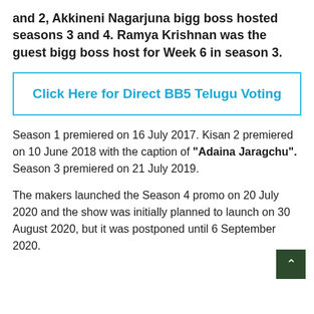and 2, Akkineni Nagarjuna bigg boss hosted seasons 3 and 4. Ramya Krishnan was the guest bigg boss host for Week 6 in season 3.
Click Here for Direct BB5 Telugu Voting
Season 1 premiered on 16 July 2017. Kisan 2 premiered on 10 June 2018 with the caption of "Adaina Jaragchu". Season 3 premiered on 21 July 2019.
The makers launched the Season 4 promo on 20 July 2020 and the show was initially planned to launch on 30 August 2020, but it was postponed until 6 September 2020.